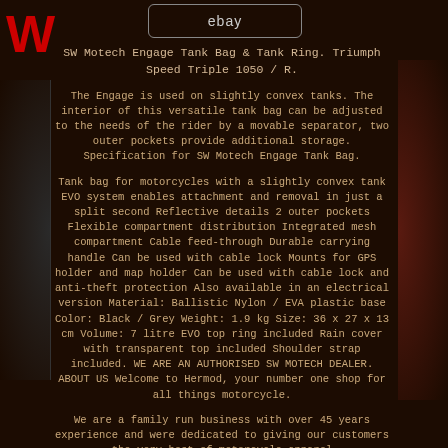[Figure (logo): Red W logo on dark background, top left corner]
[Figure (screenshot): eBay logo in rounded rectangle box at top center]
SW Motech Engage Tank Bag & Tank Ring. Triumph Speed Triple 1050 / R.
The Engage is used on slightly convex tanks. The interior of this versatile tank bag can be adjusted to the needs of the rider by a movable separator, two outer pockets provide additional storage. Specification for SW Motech Engage Tank Bag.
Tank bag for motorcycles with a slightly convex tank EVO system enables attachment and removal in just a split second Reflective details 2 outer pockets Flexible compartment distribution Integrated mesh compartment Cable feed-through Durable carrying handle Can be used with cable lock Mounts for GPS holder and map holder Can be used with cable lock and anti-theft protection Also available in an electrical version Material: Ballistic Nylon / EVA plastic base Color: Black / Grey Weight: 1.9 kg Size: 36 x 27 x 13 cm Volume: 7 litre EVO top ring included Rain cover with transparent top included Shoulder strap included. WE ARE AN AUTHORISED SW MOTECH DEALER. ABOUT US Welcome to Hermod, your number one shop for all things motorcycle.
We are a family run business with over 45 years experience and were dedicated to giving our customers the very best of motorcycle apparel